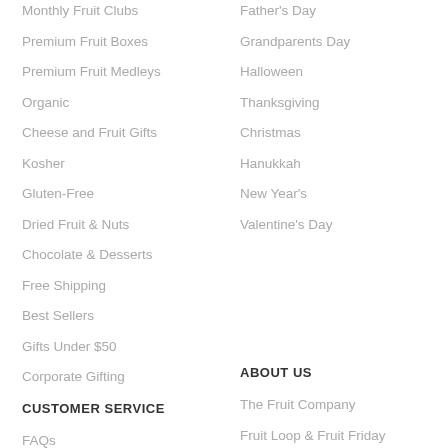Monthly Fruit Clubs
Premium Fruit Boxes
Premium Fruit Medleys
Organic
Cheese and Fruit Gifts
Kosher
Gluten-Free
Dried Fruit & Nuts
Chocolate & Desserts
Free Shipping
Best Sellers
Gifts Under $50
Corporate Gifting
Father's Day
Grandparents Day
Halloween
Thanksgiving
Christmas
Hanukkah
New Year's
Valentine's Day
CUSTOMER SERVICE
ABOUT US
FAQs
Shipping, Billing & Returns
The Fruit Company
Fruit Loop & Fruit Friday